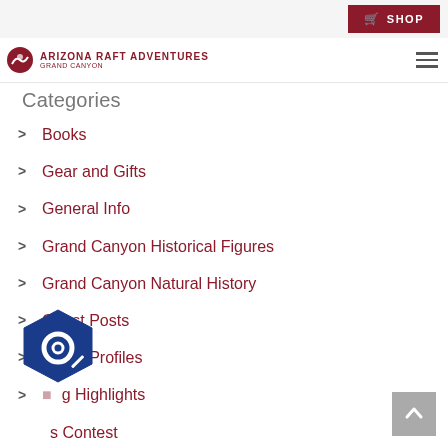SHOP
[Figure (logo): Arizona Raft Adventures Grand Canyon logo with rafting icon]
Categories
Books
Gear and Gifts
General Info
Grand Canyon Historical Figures
Grand Canyon Natural History
Guest Posts
Guide Profiles
ng Highlights
s Contest
News